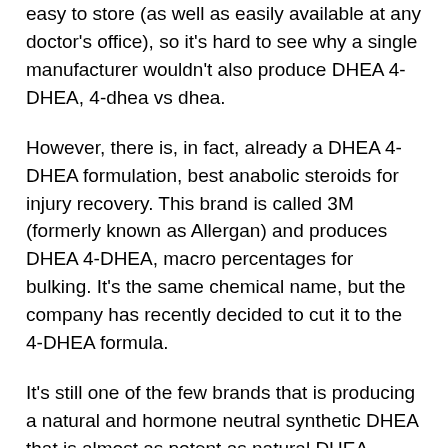easy to store (as well as easily available at any doctor's office), so it's hard to see why a single manufacturer wouldn't also produce DHEA 4-DHEA, 4-dhea vs dhea.
However, there is, in fact, already a DHEA 4-DHEA formulation, best anabolic steroids for injury recovery. This brand is called 3M (formerly known as Allergan) and produces DHEA 4-DHEA, macro percentages for bulking. It's the same chemical name, but the company has recently decided to cut it to the 4-DHEA formula.
It's still one of the few brands that is producing a natural and hormone neutral synthetic DHEA that is almost as potent as natural DHEA, Making Wooden Chess Set....
4) It Contains More Phos-Hormone Than Natural DHEA